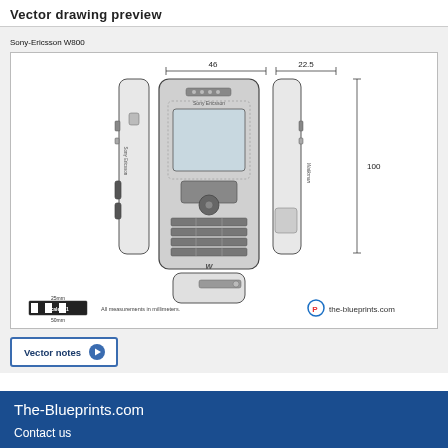Vector drawing preview
Sony-Ericsson W800
[Figure (engineering-diagram): Technical blueprint/schematic drawing of Sony-Ericsson W800 mobile phone showing front view, side view (left), side view (right with Walkman branding), and bottom view. Dimensions annotated: 46mm width, 22.5mm depth, 100mm height. Scale 1:1 ruler shown. All measurements in millimeters. the-blueprints.com watermark/logo shown.]
Vector notes →
The-Blueprints.com
Contact us